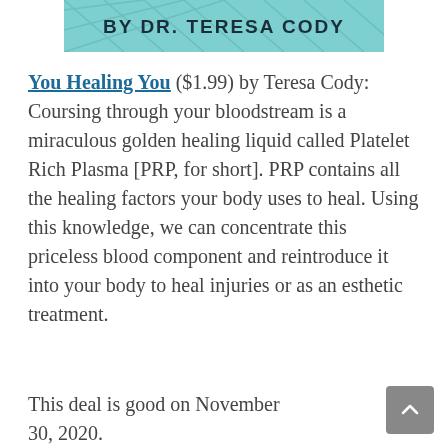[Figure (illustration): Book cover header image with teal/cyan geometric background and text 'BY DR. TERESA CODY' in bold dark letters]
You Healing You ($1.99) by Teresa Cody: Coursing through your bloodstream is a miraculous golden healing liquid called Platelet Rich Plasma [PRP, for short]. PRP contains all the healing factors your body uses to heal. Using this knowledge, we can concentrate this priceless blood component and reintroduce it into your body to heal injuries or as an esthetic treatment.
This deal is good on November 30, 2020.